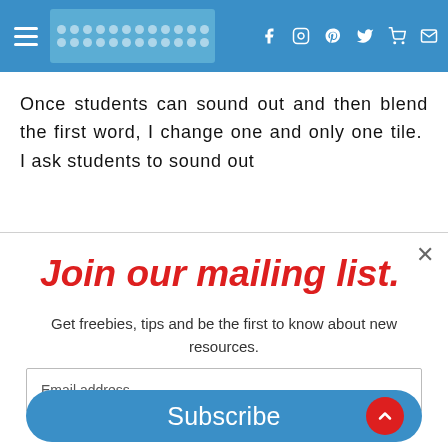Navigation header with hamburger menu, logo/dots pattern, and social icons (Facebook, Instagram, Pinterest, Twitter, cart, mail)
Once students can sound out and then blend the first word, I change one and only one tile. I ask students to sound out
Join our mailing list.
Get freebies, tips and be the first to know about new resources.
Email address
Subscribe